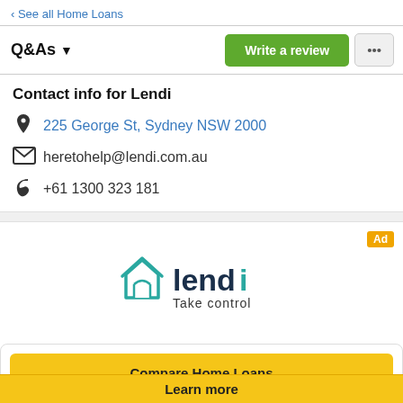< See all Home Loans
Q&As
Write a review
Contact info for Lendi
225 George St, Sydney NSW 2000
heretohelp@lendi.com.au
+61 1300 323 181
Ad
[Figure (logo): Lendi logo with house icon and tagline 'Take control']
Compare Home Loans
Learn more